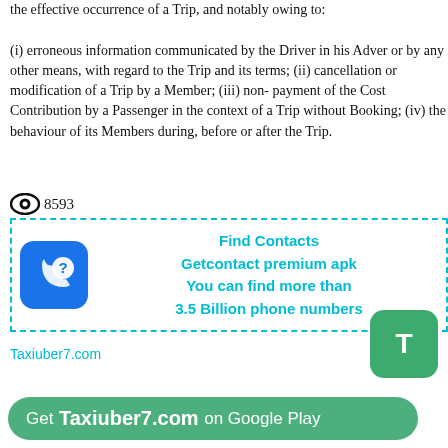the effective occurrence of a Trip, and notably owing to:

(i) erroneous information communicated by the Driver in his Adver or by any other means, with regard to the Trip and its terms; (ii) cancellation or modification of a Trip by a Member; (iii) non-payment of the Cost Contribution by a Passenger in the context of a Trip without Booking; (iv) the behaviour of its Members during, before or after the Trip.
👁 8593
[Figure (infographic): Advertisement box with dashed cyan border. Blue rounded-square icon with a phone and question mark. Cyan bold text: Find Contacts, Getcontact premium apk, You can find more than 3.5 Billion phone numbers]
Taxiuber7.com
[Figure (logo): Green rounded square button with white letter T]
Get Taxiuber7.com on Google Play